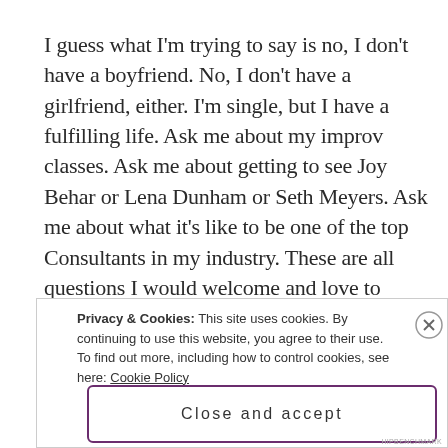I guess what I'm trying to say is no, I don't have a boyfriend. No, I don't have a girlfriend, either. I'm single, but I have a fulfilling life. Ask me about my improv classes. Ask me about getting to see Joy Behar or Lena Dunham or Seth Meyers. Ask me about what it's like to be one of the top Consultants in my industry. These are all questions I would welcome and love to answer. *End rant*
Privacy & Cookies: This site uses cookies. By continuing to use this website, you agree to their use.
To find out more, including how to control cookies, see here: Cookie Policy
Close and accept